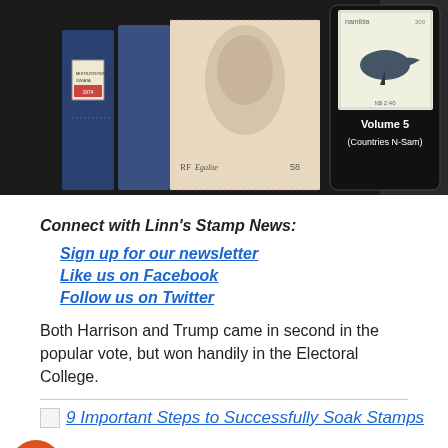[Figure (photo): Dark background image showing philatelic stamp catalogues with stamps including a Polish football stamp and French stamps, and a Volume 5 (Countries N-Sam) catalogue book visible on the right side.]
Connect with Linn's Stamp News:
Sign up for our newsletter
Like us on Facebook
Follow us on Twitter
Both Harrison and Trump came in second in the popular vote, but won handily in the Electoral College.
[Figure (screenshot): Broken image placeholder for article '9 Important Steps to Successfully Soak Stamps']
9 Important Steps to Successfully Soak Stamps
9 Important Steps to Succesfully Soak Stamps: You can get a stamp collection going with just a few things most everyone can find around their